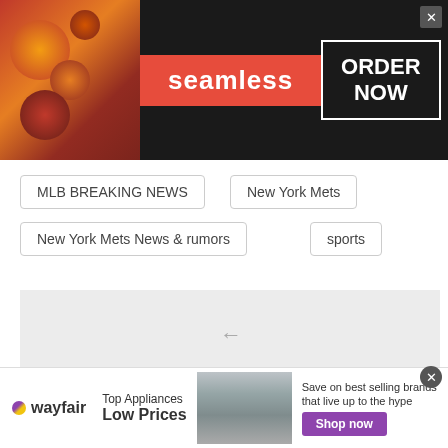[Figure (screenshot): Seamless food delivery advertisement banner with pizza image on left, red Seamless logo in center, and ORDER NOW button in white outlined box on dark background]
MLB BREAKING NEWS
New York Mets
New York Mets News & rumors
sports
[Figure (screenshot): Gray related article navigation box with left arrow, text 'Russell Martin rejects qualifying offer from Pirates', and right arrow]
[Figure (screenshot): Wayfair advertisement banner with logo, Top Appliances Low Prices text, appliance image, and Shop now button in purple]